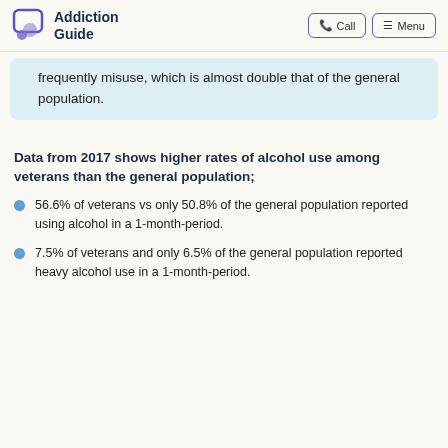Addiction Guide | Call | Menu
frequently misuse, which is almost double that of the general population.
Data from 2017 shows higher rates of alcohol use among veterans than the general population;
56.6% of veterans vs only 50.8% of the general population reported using alcohol in a 1-month-period.
7.5% of veterans and only 6.5% of the general population reported heavy alcohol use in a 1-month-period.